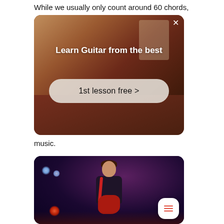While we usually only count around 60 chords,
[Figure (screenshot): Advertisement overlay with dark warm background showing a person with arms raised. Text reads 'Learn Guitar from the best' with a button '1st lesson free >' and a close X button in top right corner.]
music.
[Figure (photo): Photo of a male guitarist performing on stage, playing a red electric guitar. Purple and blue stage lighting in the background. A chat/menu button is visible in the bottom right corner of the image.]